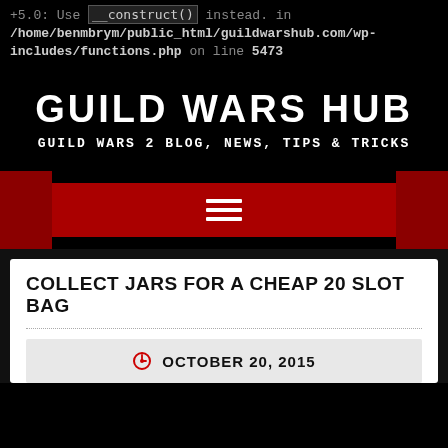+5.0: Use __construct() instead. in /home/benmbrym/public_html/guildwarshub.com/wp-includes/functions.php on line 5473
GUILD WARS HUB
GUILD WARS 2 BLOG, NEWS, TIPS & TRICKS
[Figure (other): Hamburger menu icon (three horizontal white bars) on a dark red navigation bar]
COLLECT JARS FOR A CHEAP 20 SLOT BAG
OCTOBER 20, 2015